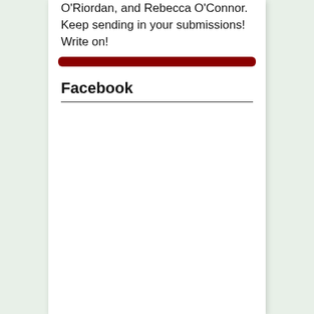O'Riordan, and Rebecca O'Connor. Keep sending in your submissions! Write on!
Facebook